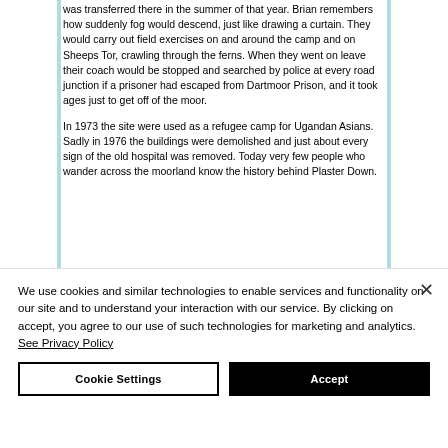was transferred there in the summer of that year. Brian remembers how suddenly fog would descend, just like drawing a curtain. They would carry out field exercises on and around the camp and on Sheeps Tor, crawling through the ferns. When they went on leave their coach would be stopped and searched by police at every road junction if a prisoner had escaped from Dartmoor Prison, and it took ages just to get off of the moor.

In 1973 the site were used as a refugee camp for Ugandan Asians. Sadly in 1976 the buildings were demolished and just about every sign of the old hospital was removed. Today very few people who wander across the moorland know the history behind Plaster Down.
We use cookies and similar technologies to enable services and functionality on our site and to understand your interaction with our service. By clicking on accept, you agree to our use of such technologies for marketing and analytics. See Privacy Policy